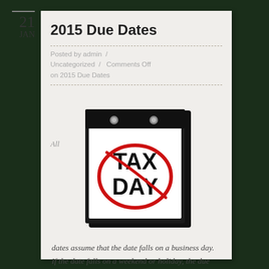2015 Due Dates
Posted by admin  /  Uncategorized  /  Comments Off on 2015 Due Dates
[Figure (illustration): A 3D wall calendar page showing the text TAX DAY with a red circle drawn around it, against a black calendar frame with metal pins at the top.]
All
dates assume that the date falls on a business day. If the date falls on a weekend or holiday, the due date will be the next business day.